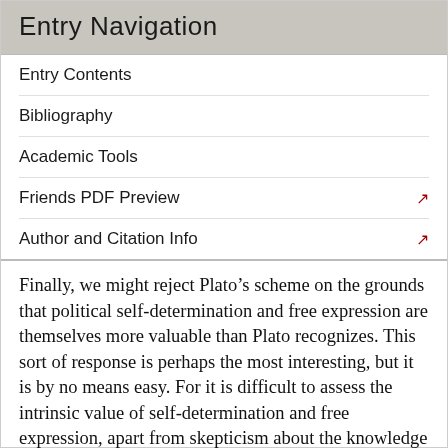Entry Navigation
Entry Contents
Bibliography
Academic Tools
Friends PDF Preview
Author and Citation Info
Finally, we might reject Plato’s scheme on the grounds that political self-determination and free expression are themselves more valuable than Plato recognizes. This sort of response is perhaps the most interesting, but it is by no means easy. For it is difficult to assess the intrinsic value of self-determination and free expression, apart from skepticism about the knowledge or power of those limiting self-determining or free expression. Moreover, it is difficult to balance these values against the concerns that motivate Plato. Where does the power over massive cultural forces lie when it is not under political control?